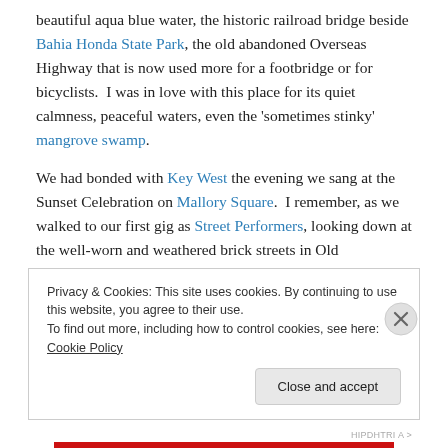beautiful aqua blue water, the historic railroad bridge beside Bahia Honda State Park, the old abandoned Overseas Highway that is now used more for a footbridge or for bicyclists.  I was in love with this place for its quiet calmness, peaceful waters, even the 'sometimes stinky' mangrove swamp.
We had bonded with Key West the evening we sang at the Sunset Celebration on Mallory Square.  I remember, as we walked to our first gig as Street Performers, looking down at the well-worn and weathered brick streets in Old
Privacy & Cookies: This site uses cookies. By continuing to use this website, you agree to their use.
To find out more, including how to control cookies, see here: Cookie Policy